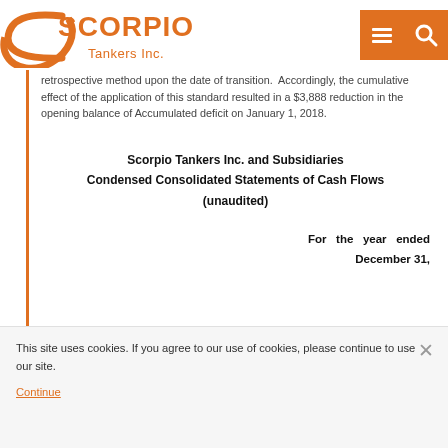Scorpio Tankers Inc. [logo]
retrospective method upon the date of transition. Accordingly, the cumulative effect of the application of this standard resulted in a $3,888 reduction in the opening balance of Accumulated deficit on January 1, 2018.
Scorpio Tankers Inc. and Subsidiaries Condensed Consolidated Statements of Cash Flows (unaudited)
For the year ended December 31,
This site uses cookies. If you agree to our use of cookies, please continue to use our site.